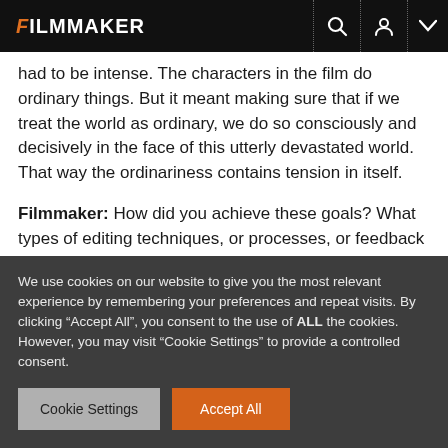FILMMAKER
had to be intense. The characters in the film do ordinary things. But it meant making sure that if we treat the world as ordinary, we do so consciously and decisively in the face of this utterly devastated world. That way the ordinariness contains tension in itself.
Filmmaker: How did you achieve these goals? What types of editing techniques, or processes, or feedback screenings allowed this work to occur?
We use cookies on our website to give you the most relevant experience by remembering your preferences and repeat visits. By clicking “Accept All”, you consent to the use of ALL the cookies. However, you may visit “Cookie Settings” to provide a controlled consent.